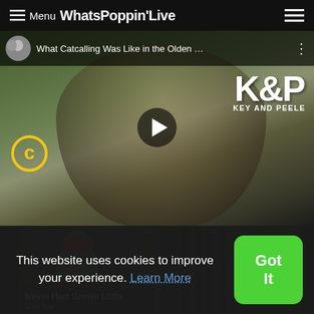≡ Menu WhatsPoppinLive
[Figure (screenshot): YouTube video player showing 'What Catcalling Was Like in the Olden...' with Key and Peele branding. Comedy Central logo visible. Play button in center.]
[Figure (screenshot): Thumbnail of Kevin Hart Grown Little Man video showing green-faced character]
[Figure (screenshot): Thumbnail of second video showing person with guitar]
Kevin Hart Grown Little Man...
This website uses cookies to improve your experience. Learn More
Got It